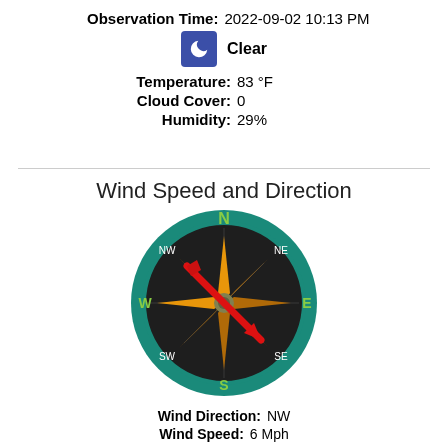Observation Time: 2022-09-02 10:13 PM
Clear
Temperature: 83 °F
Cloud Cover: 0
Humidity: 29%
Wind Speed and Direction
[Figure (other): Compass rose showing wind direction from NW to SE. The compass has a dark circular face with teal border ring, N/S/E/W labels in yellow-green, NW/NE/SW/SE in white, an 8-pointed orange/gold star, and a red arrow pointing from NW to SE indicating wind direction.]
Wind Direction: NW
Wind Speed: 6 Mph